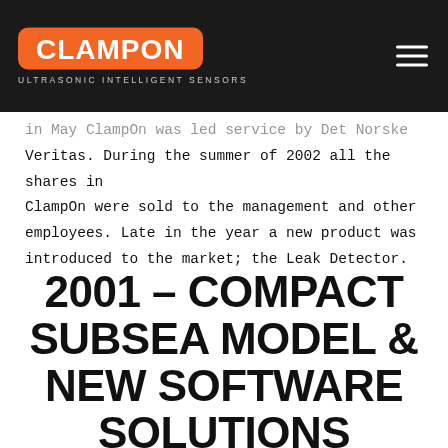CLAMPON ULTRASONIC INTELLIGENT SENSORS
in May ClampOn was led service by Det Norske Veritas. During the summer of 2002 all the shares in ClampOn were sold to the management and other employees. Late in the year a new product was introduced to the market; the Leak Detector.
2001 – COMPACT SUBSEA MODEL & NEW SOFTWARE SOLUTIONS INTRODUCED